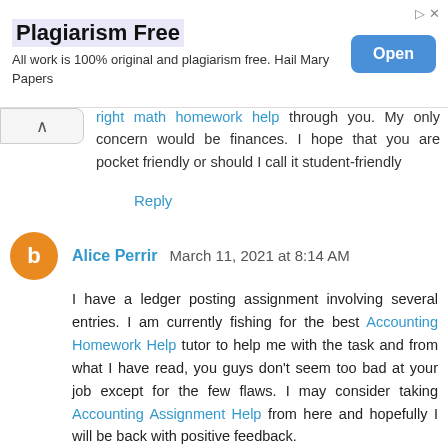[Figure (other): Advertisement banner: 'Plagiarism Free' with subtitle 'All work is 100% original and plagiarism free. Hail Mary Papers' and an 'Open' button]
...right math homework help through you. My only concern would be finances. I hope that you are pocket friendly or should I call it student-friendly
Reply
Alice Perrir  March 11, 2021 at 8:14 AM
I have a ledger posting assignment involving several entries. I am currently fishing for the best Accounting Homework Help tutor to help me with the task and from what I have read, you guys don't seem too bad at your job except for the few flaws. I may consider taking Accounting Assignment Help from here and hopefully I will be back with positive feedback.
Reply